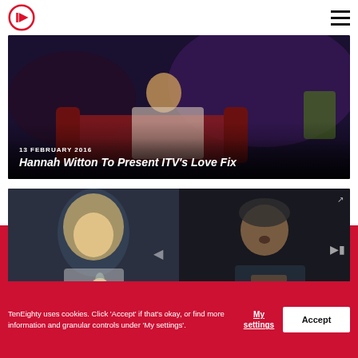TenEighty logo and navigation
[Figure (photo): Hannah Witton seated on red sofa in a TV studio with blue and purple lighting]
13 FEBRUARY 2016
Hannah Witton To Present ITV's Love Fix
[Figure (screenshot): Split-screen video showing a blonde woman drinking on the left and a man talking on the right, with a Karamba Casino advertisement strip at the bottom]
TenEighty uses cookies. Click 'Accept' if that's okay, or find more information and granular controls under 'My settings'.
My settings
Accept